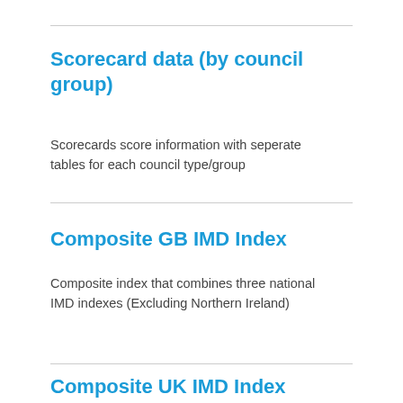Scorecard data (by council group)
Scorecards score information with seperate tables for each council type/group
Composite GB IMD Index
Composite index that combines three national IMD indexes (Excluding Northern Ireland)
Composite UK IMD Index